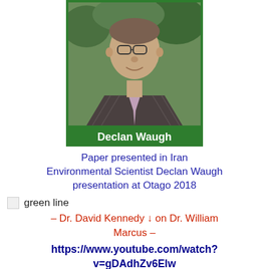[Figure (photo): Portrait photo of Declan Waugh, a man in a dark striped suit with a light purple tie, with greenery in the background. The photo has a green border and a green name bar at the bottom reading 'Declan Waugh' in white bold text.]
Paper presented in Iran Environmental Scientist Declan Waugh presentation at Otago 2018
[Figure (illustration): Small broken image icon followed by text 'green line']
– Dr. David Kennedy ↓ on Dr. William Marcus –
https://www.youtube.com/watch?v=gDAdhZv6Elw